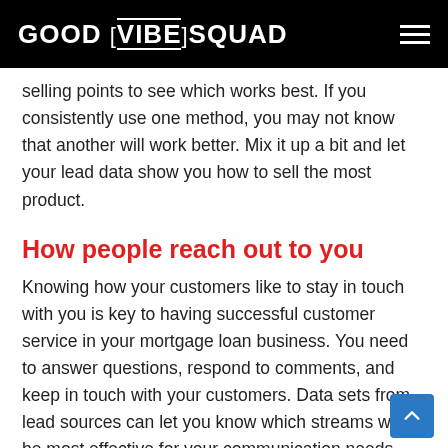GOOD VIBE SQUAD
selling points to see which works best. If you consistently use one method, you may not know that another will work better. Mix it up a bit and let your lead data show you how to sell the most product.
How people reach out to you
Knowing how your customers like to stay in touch with you is key to having successful customer service in your mortgage loan business. You need to answer questions, respond to comments, and keep in touch with your customers. Data sets from lead sources can let you know which streams will be most effective for your communication needs.